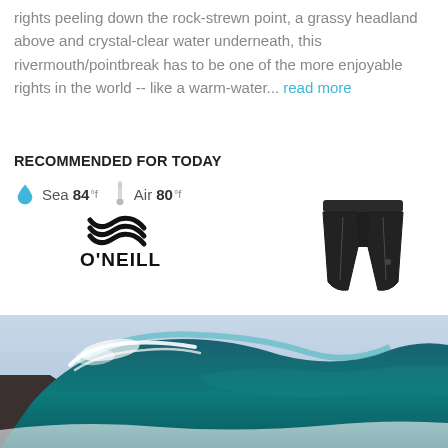rights peeling down the rock-strewn point, a grassy headland above and crystal-clear water underneath, this rivermouth/pointbreak has to be one of the more enjoyable rights in the world -- like a warm-water... read more
RECOMMENDED FOR TODAY
Sea 84 °f   Air 80°f
[Figure (logo): O'Neill brand logo]
[Figure (photo): Black board shorts product photo]
[Figure (photo): Ocean wave crashing, blue-teal water with white foam, aerial/side view]